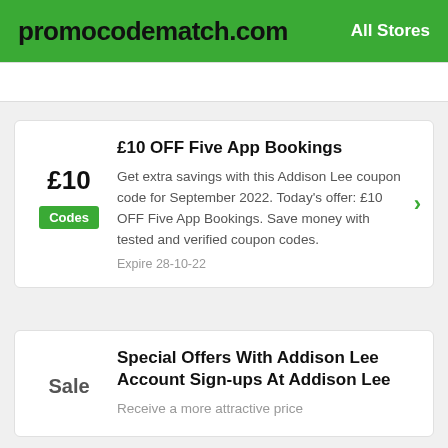promocodematch.com | All Stores
£10 OFF Five App Bookings
Get extra savings with this Addison Lee coupon code for September 2022. Today's offer: £10 OFF Five App Bookings. Save money with tested and verified coupon codes.
Expire 28-10-22
Special Offers With Addison Lee Account Sign-ups At Addison Lee
Receive a more attractive price